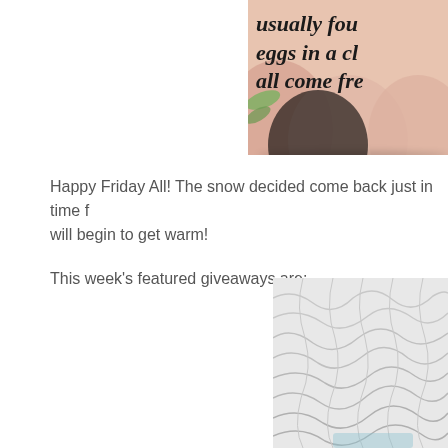[Figure (photo): Partially visible image of pink/cream-colored eggs with italic cursive text overlay reading 'usually fou...' 'eggs in a cl...' 'all come fre...' - the image is cropped at the right edge]
Happy Friday All! The snow decided come back just in time f... will begin to get warm!
This week’s featured giveaways are:
[Figure (photo): Partially visible image of white quilted or textured fabric/bedding in the bottom right corner]